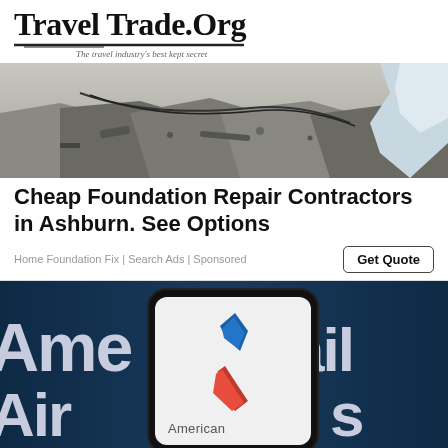Travel Trade.Org — The travel industry's best kept secret
[Figure (photo): Construction rubble and broken concrete/rock, close-up photo of foundation damage]
Cheap Foundation Repair Contractors in Ashburn. See Options
Home Foundation Fix | Search Ads | Sponsored
[Figure (photo): American Airlines logo on a smartphone screen held against a blurred American Airlines sign background]